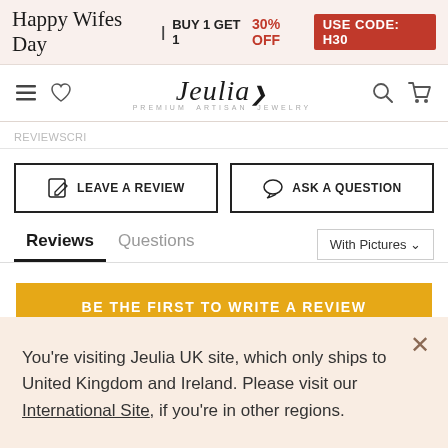Happy Wife's Day | BUY 1 GET 1 30% OFF USE CODE: H30
[Figure (logo): Jeulia logo with tagline PREMIUM ARTISAN JEWELRY, navigation icons (hamburger, heart, search, cart)]
REVIEWS
LEAVE A REVIEW
ASK A QUESTION
Reviews  Questions
With Pictures ∨
BE THE FIRST TO WRITE A REVIEW
You're visiting Jeulia UK site, which only ships to United Kingdom and Ireland. Please visit our International Site, if you're in other regions.